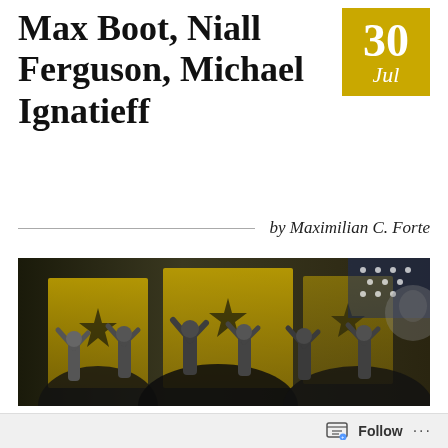Max Boot, Niall Ferguson, Michael Ignatieff
30 Jul
by Maximilian C. Forte
[Figure (photo): Black and white photo of a crowd of men with raised hands in front of a large banner or mural featuring stars and partial text, overlaid with golden/sepia tones suggesting flags and political imagery.]
(A listing of some popular quotes, from proponents of the new imperialism, that one
Follow ...